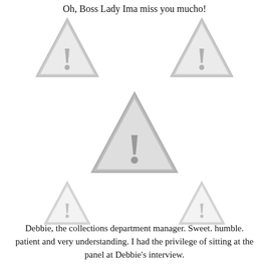Oh, Boss Lady Ima miss you mucho!
[Figure (illustration): Two warning triangle icons (grey) side by side in the upper portion]
[Figure (illustration): One large warning triangle icon (grey) centered in the middle]
[Figure (illustration): Two smaller warning triangle icons (grey) side by side]
Debbie, the collections department manager. Sweet. humble. patient and very understanding. I had the privilege of sitting at the panel at Debbie's interview.
[Figure (illustration): Three warning triangle icons (grey) at the bottom, center one larger]